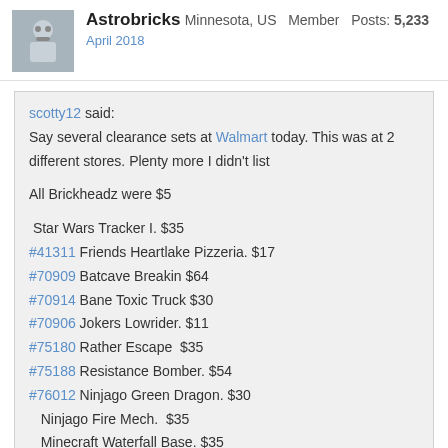Astrobricks  Minnesota, US  Member  Posts: 5,233
April 2018
scotty12 said:
Say several clearance sets at Walmart today.  This was at 2 different stores.  Plenty more I didn't list

All Brickheadz were $5

 Star Wars Tracker I. $35
#41311 Friends Heartlake Pizzeria. $17
#70909 Batcave Breakin $64
#70914 Bane Toxic Truck $30
#70906 Jokers Lowrider. $11
#75180 Rather Escape  $35
#75188 Resistance Bomber. $54
#76012 Ninjago Green Dragon. $30
   Ninjago Fire Mech.  $35
   Minecraft Waterfall Base. $35
#76087 Flying Fox: Batmobile Airlift. $79
The Ninjago dragon is #70612